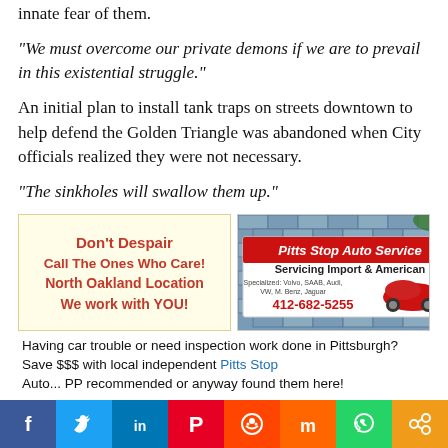innate fear of them.
“We must overcome our private demons if we are to prevail in this existential struggle.”
An initial plan to install tank traps on streets downtown to help defend the Golden Triangle was abandoned when City officials realized they were not necessary.
“The sinkholes will swallow them up.”
[Figure (advertisement): Two side-by-side ads: left is a yellow background ad reading 'Don't Despair / Call The Ones Who Care! / North Oakland Location / We work with YOU!' in red bold text; right is a photo of a Pitts Stop Auto Service sign on a brick wall, showing 'Servicing Import & American', specialized brands, and phone 412-682-5255 with a red sports car image.]
Having car trouble or need inspection work done in Pittsburgh? Save $$$ with local independent Pitts Stop Auto...
Social share bar: Facebook, Twitter, LinkedIn, Pinterest, Reddit, Mix, WhatsApp, Share